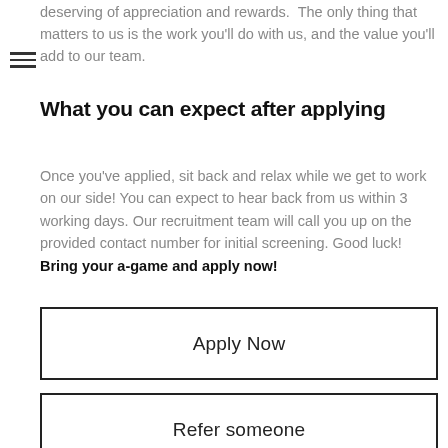deserving of appreciation and rewards. The only thing that matters to us is the work you'll do with us, and the value you'll add to our team.
What you can expect after applying
Once you've applied, sit back and relax while we get to work on our side! You can expect to hear back from us within 3 working days. Our recruitment team will call you up on the provided contact number for initial screening. Good luck! Bring your a-game and apply now!
Apply Now
Refer someone